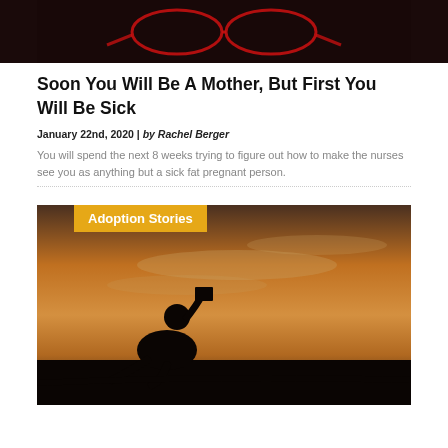[Figure (photo): Dark background image, partial view of an article header image with red neon-like glasses on dark background]
Soon You Will Be A Mother, But First You Will Be Sick
January 22nd, 2020 | by Rachel Berger
You will spend the next 8 weeks trying to figure out how to make the nurses see you as anything but a sick fat pregnant person.
[Figure (photo): Silhouette of a person sitting and reading a book against a warm sunset sky, with 'Adoption Stories' label overlay in orange/gold]